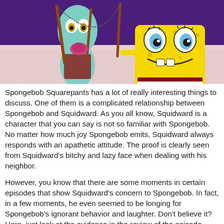[Figure (illustration): Animated scene from Spongebob Squarepants showing Squidward and Spongebob. Squidward (teal octopus character) is on the left holding a stick/rod, with a pink/purple tongue showing. Spongebob (yellow sponge character with big blue eyes and buck teeth) is on the right, smiling. Background is purple at top and pinkish-white/speckled at bottom.]
Spongebob Squarepants has a lot of really interesting things to discuss. One of them is a complicated relationship between Spongebob and Squidward. As you all know, Squidward is a character that you can say is not so familiar with Spongebob. No matter how much joy Spongebob emits, Squidward always responds with an apathetic attitude. The proof is clearly seen from Squidward's bitchy and lazy face when dealing with his neighbor.
However, you know that there are some moments in certain episodes that show Squidward's concern to Spongebob. In fact, in a few moments, he even seemed to be longing for Spongebob's ignorant behavior and laughter. Don't believe it? Here, just look at the evidence in the review of the episode below!